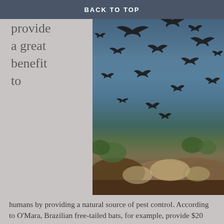BACK TO TOP
also provide a great benefit to
[Figure (photo): A large swarm of bats flying above rocky terrain with shrubs and a blue sky background. The bats appear to be Brazilian free-tailed bats emerging from a rocky cave or crevice.]
humans by providing a natural source of pest control. According to O’Mara, Brazilian free-tailed bats, for example, provide $20 million to $40 million worth of pest control for just the cotton and corn crops in the southern United States each year.